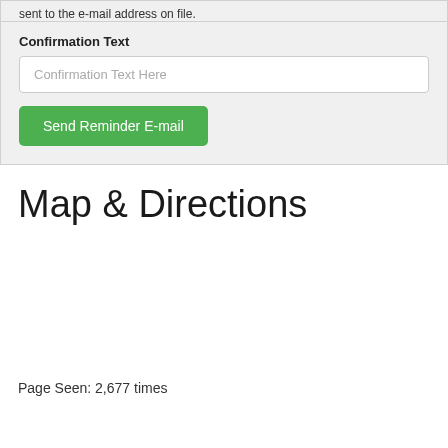sent to the e-mail address on file.
Confirmation Text
Confirmation Text Here
Send Reminder E-mail
Map & Directions
Page Seen: 2,677 times